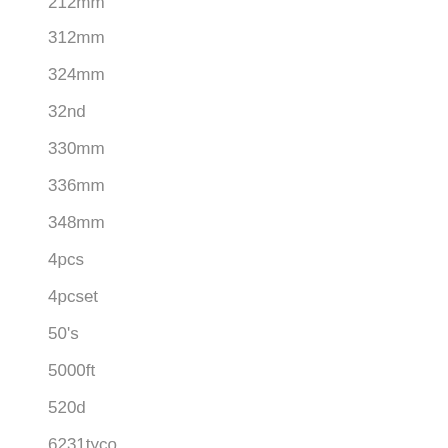212mm
312mm
324mm
32nd
330mm
336mm
348mm
4pcs
4pcset
50's
5000ft
520d
6231tyco
80ft
9101m
afx22022
afxracemasters
airfix
allstate